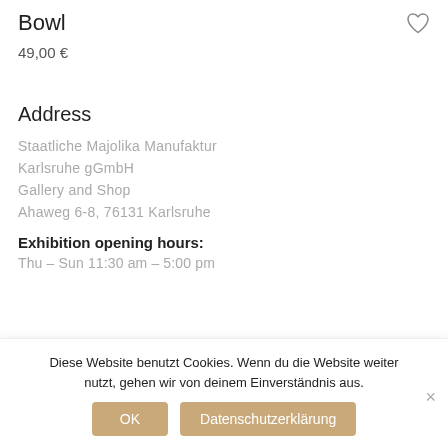Bowl
49,00 €
Address
Staatliche Majolika Manufaktur
Karlsruhe gGmbH
Gallery and Shop
Ahaweg 6-8, 76131 Karlsruhe
Exhibition opening hours:
Thu – Sun 11:30 am – 5:00 pm
Diese Website benutzt Cookies. Wenn du die Website weiter nutzt, gehen wir von deinem Einverständnis aus.